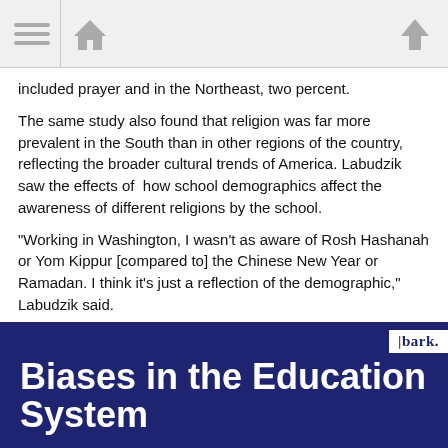Navigation bar with menu, home, and up-arrow icons
included prayer and in the Northeast, two percent.
The same study also found that religion was far more prevalent in the South than in other regions of the country, reflecting the broader cultural trends of America. Labudzik saw the effects of how school demographics affect the awareness of different religions by the school.
“Working in Washington, I wasn’t as aware of Rosh Hashanah or Yom Kippur [compared to] the Chinese New Year or Ramadan. I think it’s just a reflection of the demographic,” Labudzik said.
[Figure (infographic): Dark navy blue infographic titled 'Biases in the Education System' with bark. logo, two columns: 'Teacher biases' with arrow icon and text 'The average teacher affects' and 'Religion in Schools' with arrow icon and text 'Percentage of students that'. Red circular like/thumbs-up button in bottom right.]